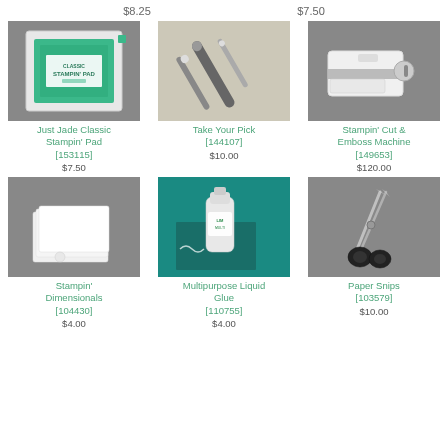$8.25
$7.50
[Figure (photo): Just Jade Classic Stampin' Pad - a teal/green ink pad on grey background]
Just Jade Classic Stampin' Pad [153115] $7.50
[Figure (photo): Take Your Pick - a dual-ended crafting tool on beige background]
Take Your Pick [144107] $10.00
[Figure (photo): Stampin' Cut & Emboss Machine - a white die cutting machine on grey background]
Stampin' Cut & Emboss Machine [149653] $120.00
[Figure (photo): Stampin' Dimensionals - white adhesive foam squares with small dot on grey background]
Stampin' Dimensionals [104430] $4.00
[Figure (photo): Multipurpose Liquid Glue - green and white glue bottle on teal background]
Multipurpose Liquid Glue [110755] $4.00
[Figure (photo): Paper Snips - black handled scissors on grey background]
Paper Snips [103579] $10.00